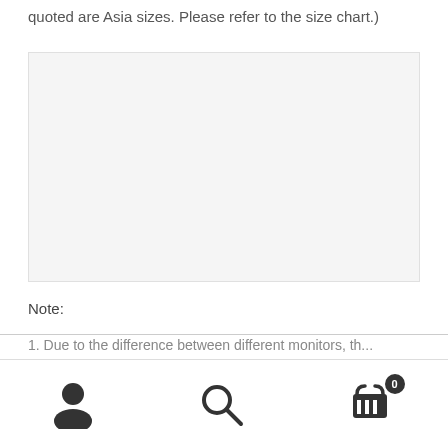quoted are Asia sizes. Please refer to the size chart.)
[Figure (photo): Large light gray image placeholder box]
Note:
1. Due to the difference between different monitors, th...
User icon | Search icon | Cart icon with badge 0